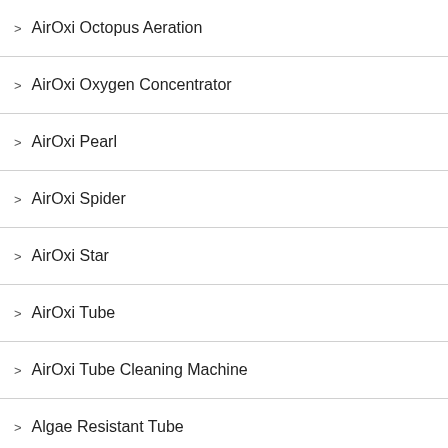AirOxi Octopus Aeration
AirOxi Oxygen Concentrator
AirOxi Pearl
AirOxi Spider
AirOxi Star
AirOxi Tube
AirOxi Tube Cleaning Machine
Algae Resistant Tube
Aquaculture
Aquaculture Aeration
Biofloc system